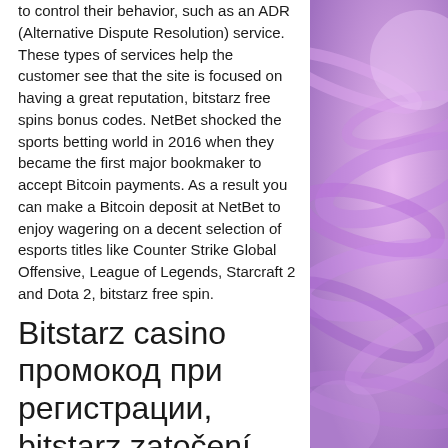to control their behavior, such as an ADR (Alternative Dispute Resolution) service. These types of services help the customer see that the site is focused on having a great reputation, bitstarz free spins bonus codes. NetBet shocked the sports betting world in 2016 when they became the first major bookmaker to accept Bitcoin payments. As a result you can make a Bitcoin deposit at NetBet to enjoy wagering on a decent selection of esports titles like Counter Strike Global Offensive, League of Legends, Starcraft 2 and Dota 2, bitstarz free spin.
Bitstarz casino промокод при регистрации, bitstarz zatočení zdarma promo code
This is why we focus on finding crypto sportsbooks that are mobile friendly. Now,